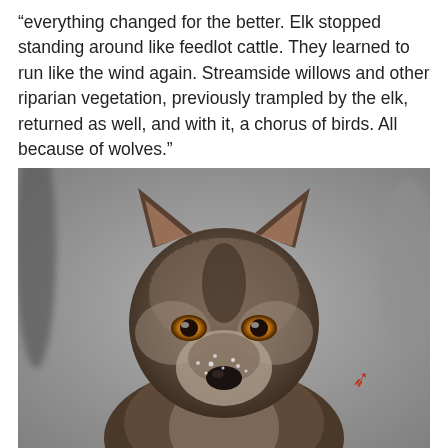“everything changed for the better. Elk stopped standing around like feedlot cattle. They learned to run like the wind again. Streamside willows and other riparian vegetation, previously trampled by the elk, returned as well, and with it, a chorus of birds. All because of wolves.”
[Figure (photo): Close-up portrait of a gray wolf with amber/golden eyes, thick fur with brown, gray and white coloring, and snowflakes on its muzzle. The wolf faces the camera directly against a blurred gray background. A small red annotation mark is visible on the right side of the image.]